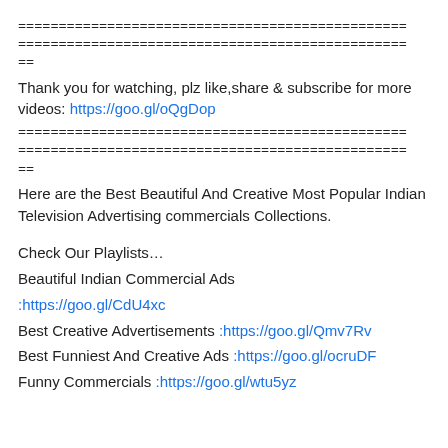================================================
================================================
==
Thank you for watching, plz like,share & subscribe for more videos: https://goo.gl/oQgDop
================================================
================================================
==
Here are the Best Beautiful And Creative Most Popular Indian Television Advertising commercials Collections.
Check Our Playlists…
Beautiful Indian Commercial Ads
:https://goo.gl/CdU4xc
Best Creative Advertisements :https://goo.gl/Qmv7Rv
Best Funniest And Creative Ads :https://goo.gl/ocruDF
Funny Commercials :https://goo.gl/wtu5yz